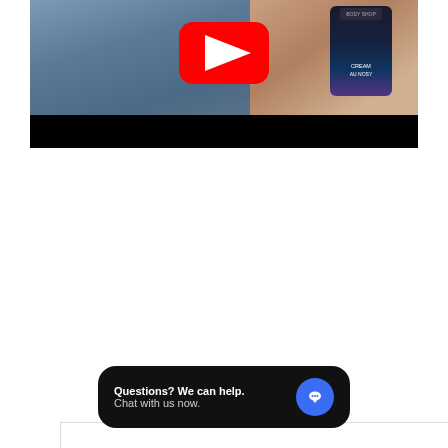[Figure (screenshot): YouTube video thumbnail showing a hand holding a dark skincare product bottle with a red YouTube play button overlay and black letterbox bar at bottom]
Kunde anmeldelser
Der er endnu ingen anmeldelser
Skrive en anmeldelse
[Figure (other): Chat widget popup with text 'Questions? We can help. Chat with us now.' and blue chat icon on dark background]